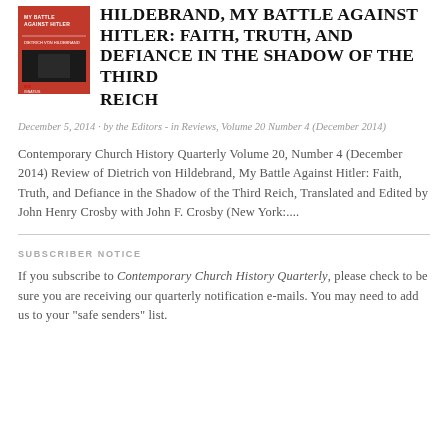[Figure (photo): Book cover of 'My Battle Against Hitler' by Dietrich von Hildebrand, red cover with black and white photo]
HILDEBRAND, MY BATTLE AGAINST HITLER: FAITH, TRUTH, AND DEFIANCE IN THE SHADOW OF THE THIRD REICH
December 5, 2014 · by the Editors - in Reviews, Volume 20 Number 4 (December 2014)
Contemporary Church History Quarterly Volume 20, Number 4 (December 2014) Review of Dietrich von Hildebrand, My Battle Against Hitler: Faith, Truth, and Defiance in the Shadow of the Third Reich, Translated and Edited by John Henry Crosby with John F. Crosby (New York:....
SUBSCRIBER NOTICE
If you subscribe to Contemporary Church History Quarterly, please check to be sure you are receiving our quarterly notification e-mails. You may need to add us to your "safe senders" list.